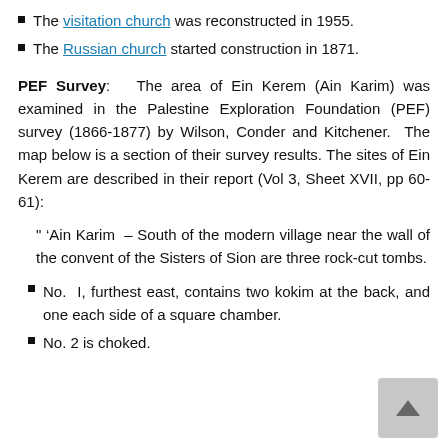The visitation church was reconstructed in 1955.
The Russian church started construction in 1871.
PEF Survey: The area of Ein Kerem (Ain Karim) was examined in the Palestine Exploration Foundation (PEF) survey (1866-1877) by Wilson, Conder and Kitchener. The map below is a section of their survey results. The sites of Ein Kerem are described in their report (Vol 3, Sheet XVII, pp 60-61):
" 'Ain Karim – South of the modern village near the wall of the convent of the Sisters of Sion are three rock-cut tombs.
No. I, furthest east, contains two kokim at the back, and one each side of a square chamber.
No. 2 is choked.